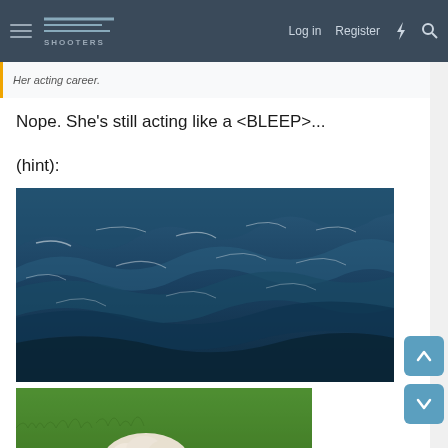NES Shooters — Log in  Register
Her acting career.
Nope. She's still acting like a <BLEEP>...
(hint):
[Figure (photo): Close-up photo of dark blue ocean waves with white foam and ripples]
[Figure (photo): Photo of a white sheep/lamb lying on green grass looking at the camera]